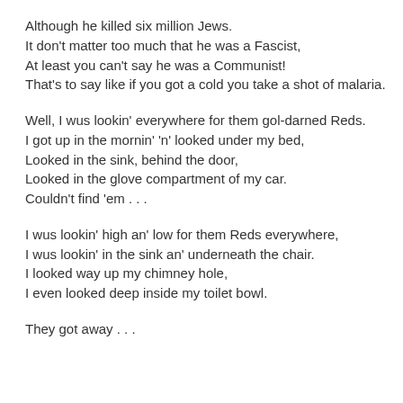Although he killed six million Jews.
It don't matter too much that he was a Fascist,
At least you can't say he was a Communist!
That's to say like if you got a cold you take a shot of malaria.
Well, I wus lookin' everywhere for them gol-darned Reds.
I got up in the mornin' 'n' looked under my bed,
Looked in the sink, behind the door,
Looked in the glove compartment of my car.
Couldn't find 'em . . .
I wus lookin' high an' low for them Reds everywhere,
I wus lookin' in the sink an' underneath the chair.
I looked way up my chimney hole,
I even looked deep inside my toilet bowl.
They got away . . .